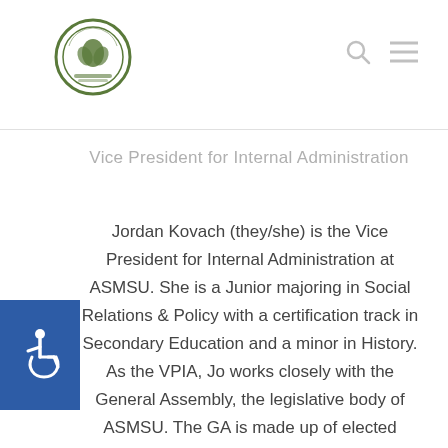Vice President for Internal Administration
Jordan Kovach (they/she) is the Vice President for Internal Administration at ASMSU. She is a Junior majoring in Social Relations & Policy with a certification track in Secondary Education and a minor in History. As the VPIA, Jo works closely with the General Assembly, the legislative body of ASMSU. The GA is made up of elected college representatives as well as reps from the Council of Racial and Ethnic Students (CORES), Council of Progressive Students (COPS), and other governing organizations (Greek Life, Residence Hall Association, Spartan Housing Cooperative, etc.). They ensure that bills and other legislation passed by the GA are effective and in line with the needs of the Spartan community. Aside from